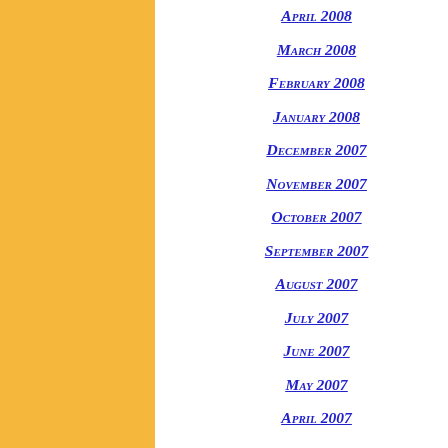[Figure (other): Gold/yellow vertical bar on left side of page]
April 2008
March 2008
February 2008
January 2008
December 2007
November 2007
October 2007
September 2007
August 2007
July 2007
June 2007
May 2007
April 2007